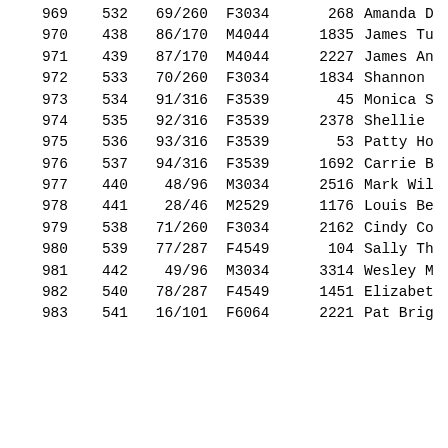| 968 | 531 | 84/175 | F1829 | 2848 | Katrina ... |
| 969 | 532 | 69/260 | F3034 | 268 | Amanda D... |
| 970 | 438 | 86/170 | M4044 | 1835 | James Tu... |
| 971 | 439 | 87/170 | M4044 | 2227 | James An... |
| 972 | 533 | 70/260 | F3034 | 1834 | Shannon ... |
| 973 | 534 | 91/316 | F3539 | 45 | Monica S... |
| 974 | 535 | 92/316 | F3539 | 2378 | Shellie ... |
| 975 | 536 | 93/316 | F3539 | 53 | Patty Ho... |
| 976 | 537 | 94/316 | F3539 | 1692 | Carrie B... |
| 977 | 440 | 48/96 | M3034 | 2516 | Mark Wil... |
| 978 | 441 | 28/46 | M2529 | 1176 | Louis Be... |
| 979 | 538 | 71/260 | F3034 | 2162 | Cindy Co... |
| 980 | 539 | 77/287 | F4549 | 104 | Sally Th... |
| 981 | 442 | 49/96 | M3034 | 3314 | Wesley M... |
| 982 | 540 | 78/287 | F4549 | 1451 | Elizabet... |
| 983 | 541 | 16/101 | F6064 | 2221 | Pat Brig... |